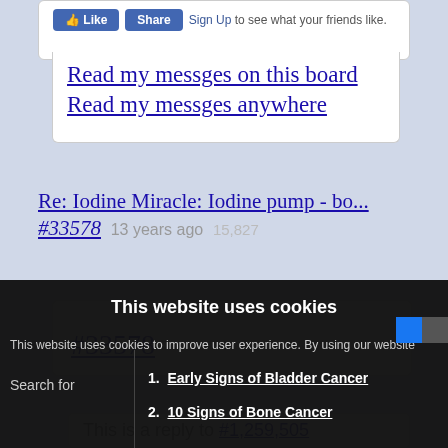[Figure (screenshot): Facebook Like and Share buttons with Sign Up link]
Read my messges on this board
Read my messges anywhere
Re: Iodine Miracle: Iodine pump - bo... #33578   13 years ago   15,827
#33578
This is a reply to #1,259,505
This website uses cookies
This website uses cookies to improve user experience. By using our website
1. Early Signs of Bladder Cancer
2. 10 Signs of Bone Cancer
Search for